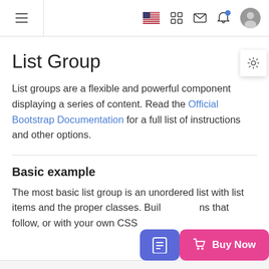Navigation bar with hamburger menu, US flag, grid, mail, bell, and avatar icons
List Group
List groups are a flexible and powerful component displaying a series of content. Read the Official Bootstrap Documentation for a full list of instructions and other options.
Basic example
The most basic list group is an unordered list with list items and the proper classes. Build upon it with the options that follow, or with your own CSS